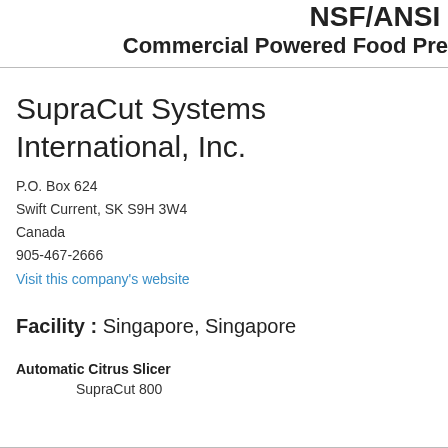NSF/ANSI
Commercial Powered Food Pre
SupraCut Systems International, Inc.
P.O. Box 624
Swift Current, SK S9H 3W4
Canada
905-467-2666
Visit this company's website
Facility : Singapore, Singapore
Automatic Citrus Slicer
SupraCut 800